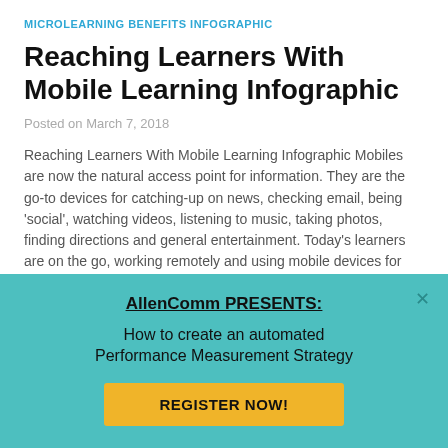MICROLEARNING BENEFITS INFOGRAPHIC
Reaching Learners With Mobile Learning Infographic
Posted on March 7, 2018
Reaching Learners With Mobile Learning Infographic Mobiles are now the natural access point for information. They are the go-to devices for catching-up on news, checking email, being 'social', watching videos, listening to music, taking photos, finding directions and general entertainment. Today's learners are on the go, working remotely and using mobile devices for their day-to-day [...]
[Figure (infographic): Red bar peeking above a teal modal popup overlay]
AllenComm PRESENTS: How to create an automated Performance Measurement Strategy
REGISTER NOW!